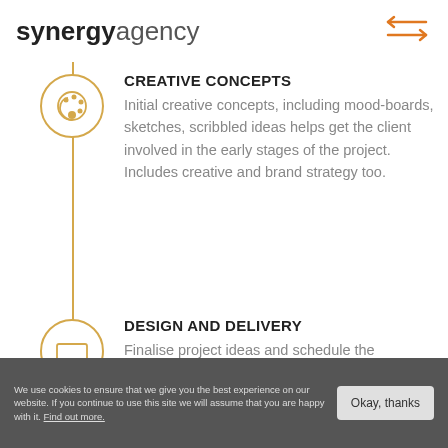synergy agency
[Figure (illustration): Two horizontal arrows pointing in opposite directions, orange color, top right corner logo/icon]
[Figure (illustration): Orange circle with a painter's palette icon inside, connected to vertical timeline line]
CREATIVE CONCEPTS
Initial creative concepts, including mood-boards, sketches, scribbled ideas helps get the client involved in the early stages of the project. Includes creative and brand strategy too.
[Figure (illustration): Orange circle with a laptop/monitor icon inside, connected to vertical timeline line]
DESIGN AND DELIVERY
Finalise project ideas and schedule the production and
We use cookies to ensure that we give you the best experience on our website. If you continue to use this site we will assume that you are happy with it. Find out more.